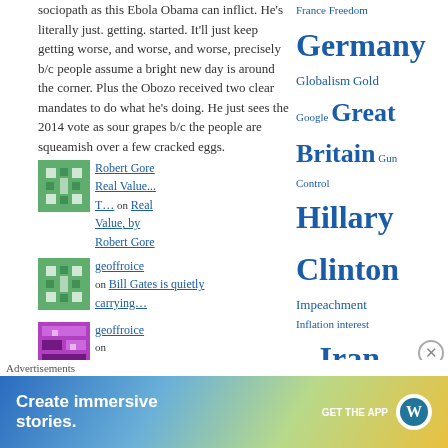sociopath as this Ebola Obama can inflict. He's literally just. getting. started. It'll just keep getting worse, and worse, and worse, precisely b/c people assume a bright new day is around the corner. Plus the Obozo received two clear mandates to do what he's doing. He just sees the 2014 vote as sour grapes b/c the people are squeamish over a few cracked eggs.
Robert Gore (link) | Real Value... T... on Real Value, by Robert Gore
geoffroice on Bill Gates is quietly carrying...
geoffroice on Celebrating a Death, by Eric P...
France, Freedom, Germany, Globalism, Gold, Google, Great Britain, Gun Control, Hillary Clinton, Impeachment, Inflation, interest rates, Iran, Iraq, Israel, James Comey, Joe Biden, Julian Assange, Middle East, Monetary inflation
Advertisements
Create immersive stories. GET THE APP